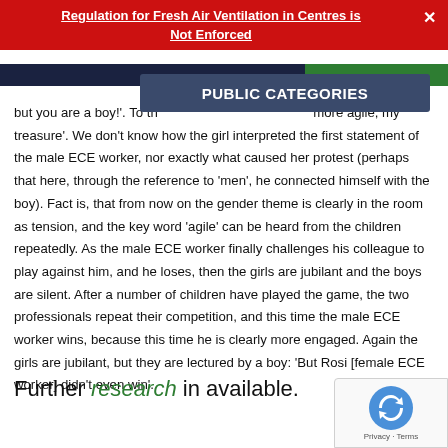Regulation for Fresh Air Ventilation in Centres is Not Enforced
[Figure (screenshot): Dark navy navigation bar with green section on right, and PUBLIC CATEGORIES overlay button in slate blue]
but you are a boy!'. To the girls he appears more agile, my treasure'. We don't know how the girl interpreted the first statement of the male ECE worker, nor exactly what caused her protest (perhaps that here, through the reference to 'men', he connected himself with the boy). Fact is, that from now on the gender theme is clearly in the room as tension, and the key word 'agile' can be heard from the children repeatedly. As the male ECE worker finally challenges his colleague to play against him, and he loses, then the girls are jubilant and the boys are silent. After a number of children have played the game, the two professionals repeat their competition, and this time the male ECE worker wins, because this time he is clearly more engaged. Again the girls are jubilant, but they are lectured by a boy: 'But Rosi [female ECE worker] didn't even win'.
Further research in available.
[Figure (logo): Google reCAPTCHA badge with recycling arrows icon and Privacy - Terms text]